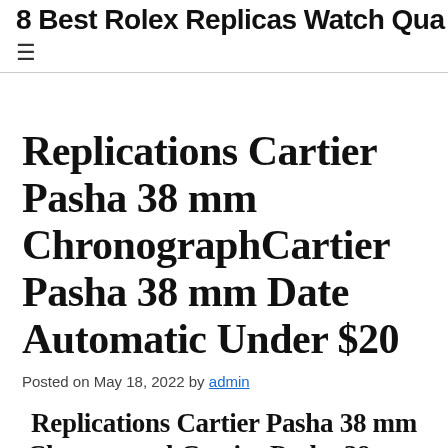8 Best Rolex Replicas Watch Qua
Replications Cartier Pasha 38 mm ChronographCartier Pasha 38 mm Date Automatic Under $20
Posted on May 18, 2022 by admin
Replications Cartier Pasha 38 mm ChronographCartier Pasha 38 mm